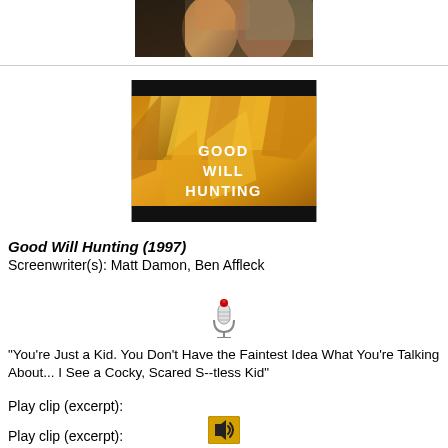[Figure (photo): Top portion of a movie scene showing two people close together]
[Figure (photo): Good Will Hunting (1997) movie title card with golden/orange geometric background and white bold text reading GOOD WILL HUNTING]
Good Will Hunting (1997)
Screenwriter(s): Matt Damon, Ben Affleck
[Figure (illustration): Microphone icon with red light on top]
"You're Just a Kid. You Don't Have the Faintest Idea What You're Talking About... I See a Cocky, Scared S--tless Kid"
Play clip (excerpt):
[Figure (illustration): Speaker/audio icon button with sound waves]
Play clip (excerpt):